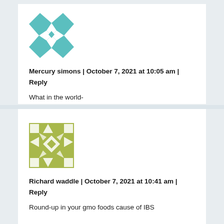[Figure (illustration): Teal geometric quilt-pattern avatar for Mercury simons]
Mercury simons | October 7, 2021 at 10:05 am | Reply
What in the world-
[Figure (illustration): Olive/yellow-green geometric quilt-pattern avatar for Richard waddle]
Richard waddle | October 7, 2021 at 10:41 am | Reply
Round-up in your gmo foods cause of IBS